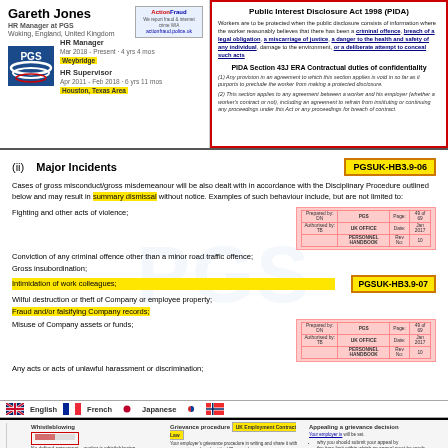Gareth Jones
HR Manager at PGS
Woking, England, United Kingdom
HR Manager
Mar 2018 - Present · 4 yrs 4 mos
Weybridge
HR Supervisor
Apr 2011 - Feb 2018 · 6 yrs 11 mos
Houston, Texas Area
[Figure (logo): ActionFraud logo with text: We report fraud & internet crime WIA actionfraud.police.uk]
[Figure (logo): PGS company logo - blue waves]
Public Interest Disclosure Act 1998 (PIDA)
Workers are to be protected when the public disclosure consists of information where the worker reasonably believes that there has been a criminal offence, breach of a legal obligation, a miscarriage of justice, a danger to the health and safety of any individual, damage to the environment, or a deliberate attempt to conceal such acts
PIDA Section 43J ERA Contractual duties of confidentiality
(1) Any provision in an agreement to which this section applies is void in so far as it purports to preclude the worker from making a protected disclosure.
(2) This section applies to any agreement between a worker and his employer (whether a worker's contract or not), including an agreement to refrain from instituting or continuing any proceedings under this Act or any proceedings for breach of contract.
(ii)    Major Incidents
PGSUK-HB3.9-06
Cases of gross misconduct/gross misdemeanour will be also dealt with in accordance with the Disciplinary Procedure outlined below and may result in summary dismissal without notice. Examples of such behaviour include, but are not limited to:
Fighting and other acts of violence;
Conviction of any criminal offence other than a minor road traffic offence;
Gross insubordination;
Intimidation of work colleagues;
PGSUK-HB3.9-07
Wilful destruction or theft of Company or employee property;
Fraud and/or falsifying Company records;
Misuse of Company assets or funds;
Any acts or acts of unlawful harassment or discrimination;
English  French  Japanese
Whistleblowing
No defined agreement... worker is whistleblowing. Whistleblowing means making protected disclosures as defined by the Employment Rights Act 1996 (page 20). Confidentiality agreements that seek to stop workers...
Grievance procedure  UK Employment Contract Law
Your employer's grievance procedure in writing and share it with you...
Appealing a grievance decision